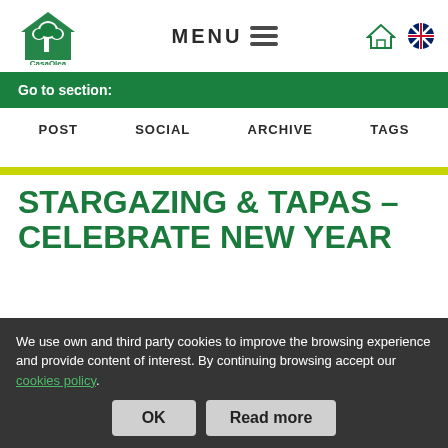[Figure (logo): CasaOlea logo — green house with tree silhouette, text 'CasaOlea' below]
MENU  ☰
Go to section:
POST
SOCIAL
ARCHIVE
TAGS
STARGAZING & TAPAS - CELEBRATE NEW YEAR IN SPAIN!
We use own and third party cookies to improve the browsing experience and provide content of interest. By continuing browsing accept our cookies policy.
Tuesday, October 23, 2018 - 14:14